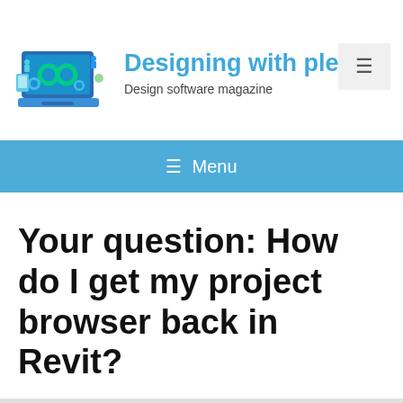[Figure (illustration): Isometric illustration of a laptop with gears and infinity loop symbol, small human figures around it, representing design/software concept]
Designing with pleasure
Design software magazine
≡ Menu
Your question: How do I get my project browser back in Revit?